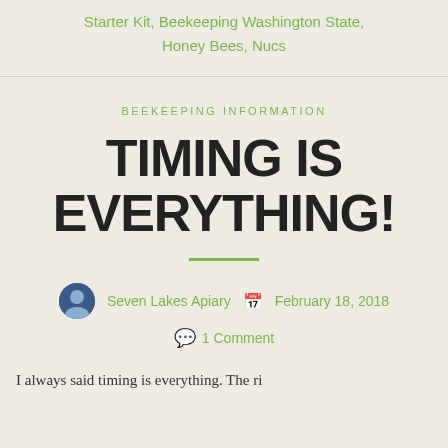Starter Kit, Beekeeping Washington State, Honey Bees, Nucs
BEEKEEPING INFORMATION
TIMING IS EVERYTHING!
Seven Lakes Apiary   February 18, 2018
1 Comment
I always said timing is everything. The ri...